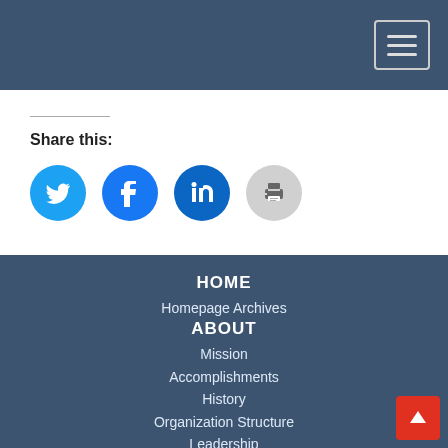[Figure (screenshot): Dark blue website header bar with hamburger menu icon button in top right corner]
Share this:
[Figure (infographic): Social share icons: Twitter (blue circle), Facebook (blue circle), LinkedIn (blue circle), Print (gray circle)]
HOME
Homepage Archives
ABOUT
Mission
Accomplishments
History
Organization Structure
Leadership
Boards
Staff Directory
Contact Us
[Figure (other): Back to top red button with upward arrow in bottom right corner]